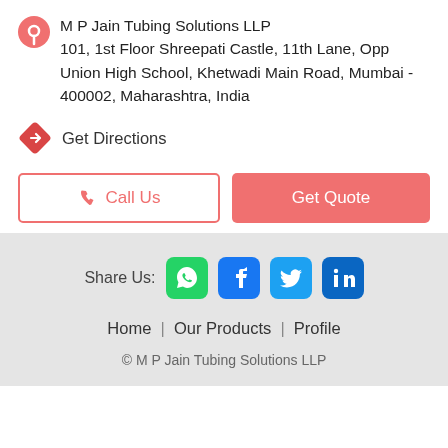M P Jain Tubing Solutions LLP
101, 1st Floor Shreepati Castle, 11th Lane, Opp Union High School, Khetwadi Main Road, Mumbai - 400002, Maharashtra, India
Get Directions
Call Us
Get Quote
Share Us:
Home | Our Products | Profile
© M P Jain Tubing Solutions LLP